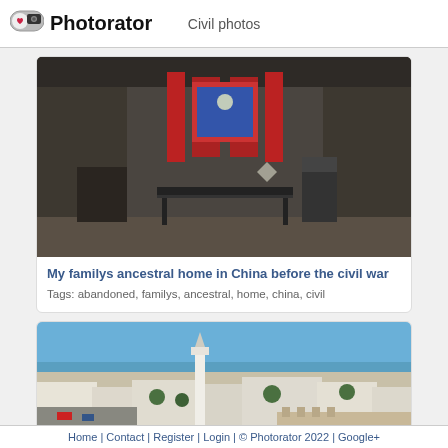Photorator — Civil photos
[Figure (photo): Interior of an abandoned ancestral home in China, showing a traditional altar table with red decorative panels and calligraphy scrolls on the wall, old wooden furniture, dark aged walls]
My familys ancestral home in China before the civil war
Tags: abandoned, familys, ancestral, home, china, civil
[Figure (photo): Aerial view of a coastal city with a white minaret tower, flat-roofed white buildings, palm trees, streets, and the ocean in the background under a blue sky]
Home | Contact | Register | Login | © Photorator 2022 | Google+